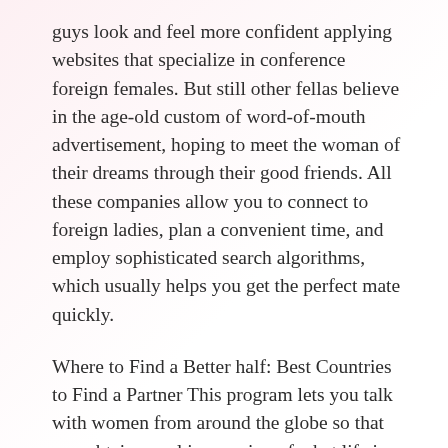guys look and feel more confident applying websites that specialize in conference foreign females. But still other fellas believe in the age-old custom of word-of-mouth advertisement, hoping to meet the woman of their dreams through their good friends. All these companies allow you to connect to foreign ladies, plan a convenient time, and employ sophisticated search algorithms, which usually helps you get the perfect mate quickly.
Where to Find a Better half: Best Countries to Find a Partner This program lets you talk with women from around the globe so that you obtain a real impression of what life is like for your near future wife. You will also be able to learn more about the country you are thinking of marrying within the internet site. You can read dating profiles, view images, learn more about in which they are right from, and even figure out they are available. This free provider offers the best way to learn more about your new chance not to be alone from around America and England – where bestwives